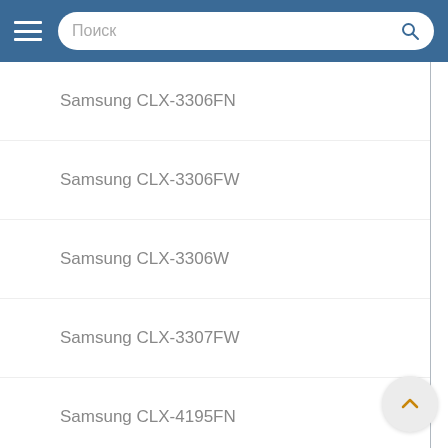Поиск
Samsung CLX-3306FN
Samsung CLX-3306FW
Samsung CLX-3306W
Samsung CLX-3307FW
Samsung CLX-3307W
Samsung CLX-4195FN
Samsung CLX-4195FW
Samsung CLX-4195N
Samsung CPL-415NK
Samsung ML-1865W
Samsung ML-1865WK
Samsung ML-1866W